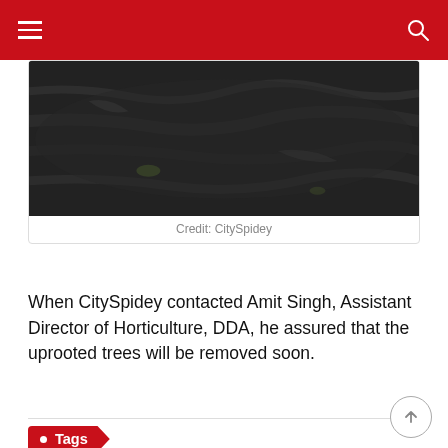[Figure (photo): A dark photograph showing what appears to be an uprooted tree trunk lying on a road, taken at close range. The bark and wood surface fill most of the frame.]
Credit: CitySpidey
When CitySpidey contacted Amit Singh, Assistant Director of Horticulture, DDA, he assured that the uprooted trees will be removed soon.
• Tags
#Uprooted trees in Dwarka
# Dwarka Sector 9
# Delhi Development Authority
# Horticulture
# Rain in Dwarka
# Dwarka commuters